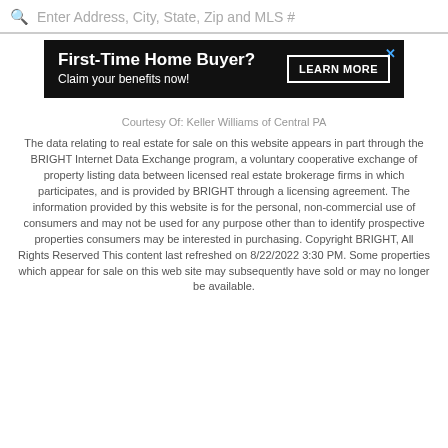Enter Address, City, State, Zip and MLS #
[Figure (other): Advertisement banner: First-Time Home Buyer? Claim your benefits now! LEARN MORE]
Courtesy Of: Keller Williams of Central PA
The data relating to real estate for sale on this website appears in part through the BRIGHT Internet Data Exchange program, a voluntary cooperative exchange of property listing data between licensed real estate brokerage firms in which participates, and is provided by BRIGHT through a licensing agreement. The information provided by this website is for the personal, non-commercial use of consumers and may not be used for any purpose other than to identify prospective properties consumers may be interested in purchasing. Copyright BRIGHT, All Rights Reserved This content last refreshed on 8/22/2022 3:30 PM. Some properties which appear for sale on this web site may subsequently have sold or may no longer be available.